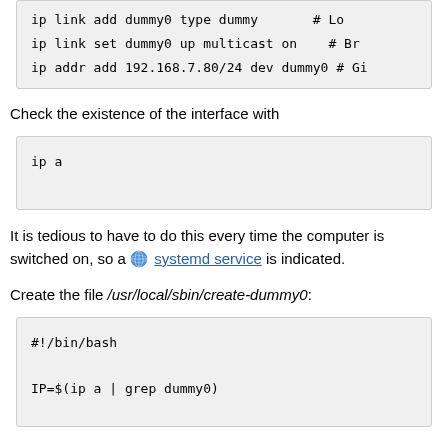[Figure (screenshot): Code block showing ip link and ip addr commands with comments]
Check the existence of the interface with
[Figure (screenshot): Code block showing: ip a]
It is tedious to have to do this every time the computer is switched on, so a systemd service is indicated.
Create the file /usr/local/sbin/create-dummy0:
[Figure (screenshot): Code block showing: #!/bin/bash followed by IP=$(ip a | grep dummy0)]